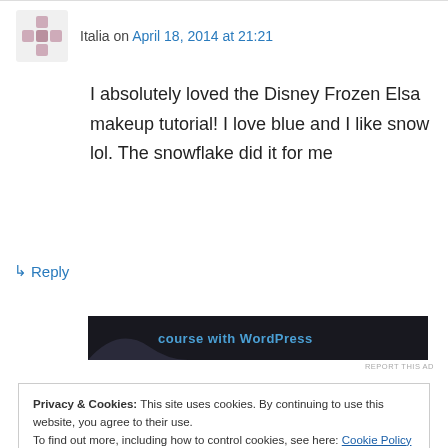Italia on April 18, 2014 at 21:21
I absolutely loved the Disney Frozen Elsa makeup tutorial! I love blue and I like snow lol. The snowflake did it for me
↳ Reply
[Figure (screenshot): Dark ad banner showing 'course with WordPress' text]
REPORT THIS AD
Privacy & Cookies: This site uses cookies. By continuing to use this website, you agree to their use.
To find out more, including how to control cookies, see here: Cookie Policy
Close and accept
Tutorial" 🙂